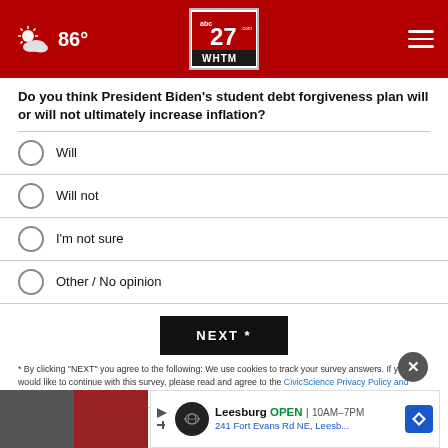abc27 WHTM — 86° weather header
Do you think President Biden's student debt forgiveness plan will or will not ultimately increase inflation?
Will
Will not
I'm not sure
Other / No opinion
NEXT *
* By clicking "NEXT" you agree to the following: We use cookies to track your survey answers. If you would like to continue with this survey, please read and agree to the CivicScience Privacy Policy and Terms of Service
TOP S...
[Figure (other): Advertisement banner: Leesburg OPEN 10AM–7PM, 241 Fort Evans Rd NE, Leesb...]